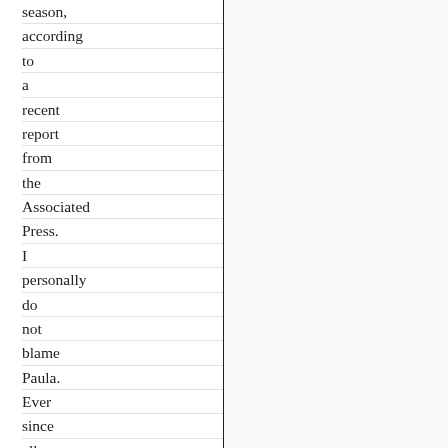season, according to a recent report from the Associated Press. I personally do not blame Paula. Ever since all the negative attention she received after doing